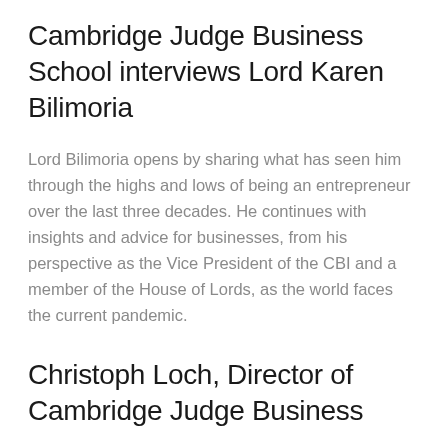Cambridge Judge Business School interviews Lord Karen Bilimoria
Lord Bilimoria opens by sharing what has seen him through the highs and lows of being an entrepreneur over the last three decades. He continues with insights and advice for businesses, from his perspective as the Vice President of the CBI and a member of the House of Lords, as the world faces the current pandemic.
Christoph Loch, Director of Cambridge Judge Business